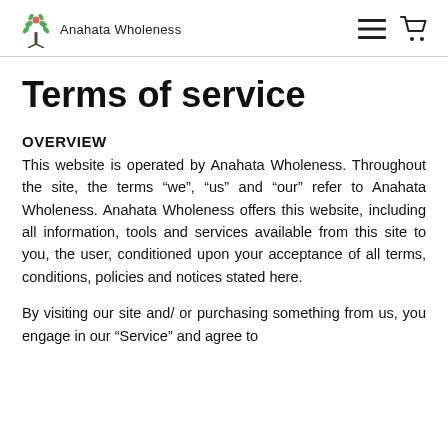Anahata Wholeness
Terms of service
OVERVIEW
This website is operated by Anahata Wholeness. Throughout the site, the terms “we”, “us” and “our” refer to Anahata Wholeness. Anahata Wholeness offers this website, including all information, tools and services available from this site to you, the user, conditioned upon your acceptance of all terms, conditions, policies and notices stated here.
By visiting our site and/ or purchasing something from us, you engage in our “Service” and agree to